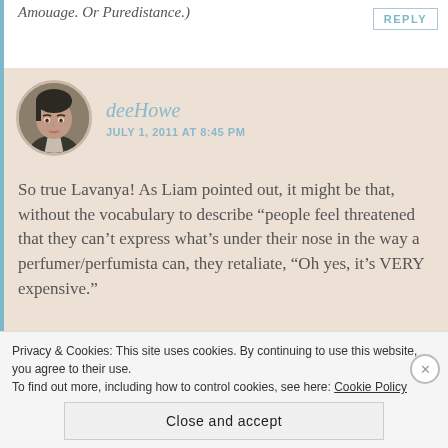Amouage. Or Puredistance.)
REPLY
deeHowe
JULY 1, 2011 AT 8:45 PM
So true Lavanya! As Liam pointed out, it might be that, without the vocabulary to describe “people feel threatened that they can’t express what’s under their nose in the way a perfumer/perfumista can, they retaliate, “Oh yes, it’s VERY expensive.”
Privacy & Cookies: This site uses cookies. By continuing to use this website, you agree to their use.
To find out more, including how to control cookies, see here: Cookie Policy
Close and accept